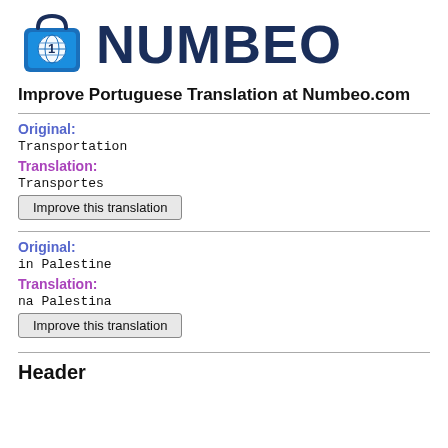[Figure (logo): Numbeo logo: blue shopping bag with globe icon and number 1, next to bold dark blue text NUMBEO]
Improve Portuguese Translation at Numbeo.com
Original:
Transportation
Translation:
Transportes
Improve this translation
Original:
in Palestine
Translation:
na Palestina
Improve this translation
Header